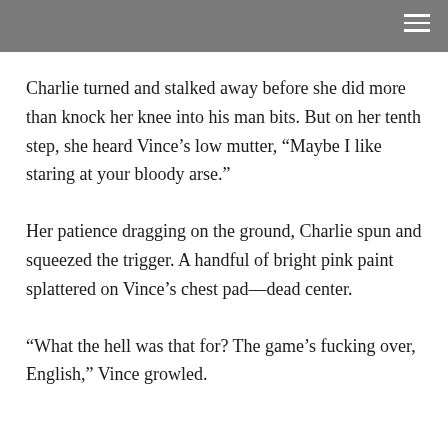Charlie turned and stalked away before she did more than knock her knee into his man bits. But on her tenth step, she heard Vince’s low mutter, “Maybe I like staring at your bloody arse.”
Her patience dragging on the ground, Charlie spun and squeezed the trigger. A handful of bright pink paint splattered on Vince’s chest pad—dead center.
“What the hell was that for? The game’s fucking over, English,” Vince growled.